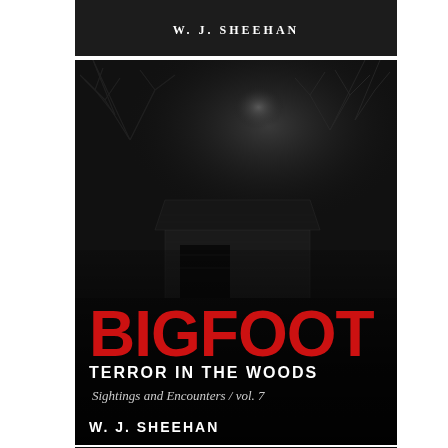[Figure (illustration): Top strip of a dark book cover showing author name W. J. SHEEHAN in white text on black background]
[Figure (illustration): Book cover for 'Bigfoot Terror in the Woods: Sightings and Encounters Vol. 7' by W. J. Sheehan. Dark atmospheric cover with a covered bridge and bare trees in a dark night sky. Large red BIGFOOT title text, white subtitle text 'TERROR IN THE WOODS', italic text 'Sightings and Encounters / vol. 7', and author name W. J. SHEEHAN at bottom.]
[Figure (illustration): Bottom partial strip of another dark book cover showing a dark forest scene with shadowy trees]